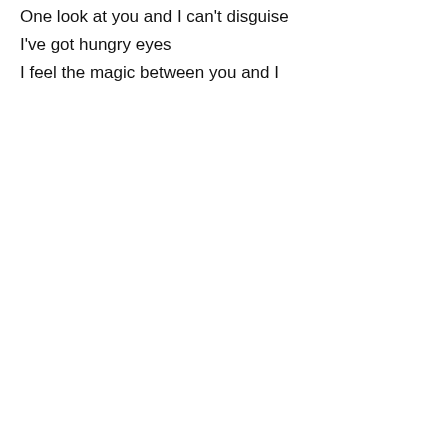One look at you and I can't disguise
I've got hungry eyes
I feel the magic between you and I